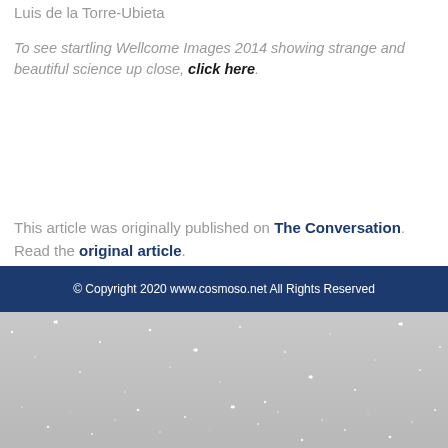Luis de la Torre-Ubieta
To see startling Wellcome Images 2014 showing strange and beautiful science up close, click here.
This article was originally published on The Conversation. Read the original article.
© Copyright 2020 www.cosmoso.net All Rights Reserved
[Figure (photo): Silver/grey starfield background image with white sparkle stars on a light grey textured background]